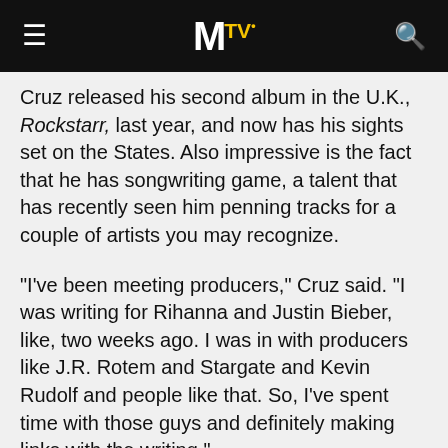MTV (logo header with hamburger menu and search icon)
Cruz released his second album in the U.K., Rockstarr, last year, and now has his sights set on the States. Also impressive is the fact that he has songwriting game, a talent that has recently seen him penning tracks for a couple of artists you may recognize.
"I've been meeting producers," Cruz said. "I was writing for Rihanna and Justin Bieber, like, two weeks ago. I was in with producers like J.R. Rotem and Stargate and Kevin Rudolf and people like that. So, I've spent time with those guys and definitely making links with the writing."
Cruz plans to release Rockstarr in the U.S. with the majority of the tracks from his U.K. release, but he'd like to add a few fan favorites from his first U.K. release, Departure -- perhaps "I Just Wanna Know" or "She's Like